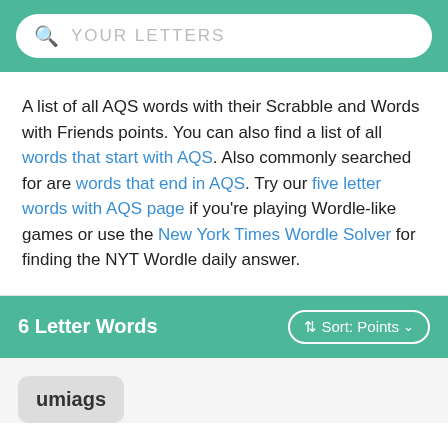[Figure (screenshot): Search bar with magnifying glass icon and placeholder text YOUR LETTERS on a teal background]
A list of all AQS words with their Scrabble and Words with Friends points. You can also find a list of all words that start with AQS. Also commonly searched for are words that end in AQS. Try our five letter words with AQS page if you're playing Wordle-like games or use the New York Times Wordle Solver for finding the NYT Wordle daily answer.
6 Letter Words
umiags